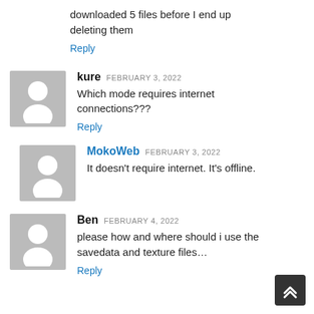downloaded 5 files before I end up deleting them
Reply
kure FEBRUARY 3, 2022
Which mode requires internet connections???
Reply
MokoWeb FEBRUARY 3, 2022
It doesn't require internet. It's offline.
Ben FEBRUARY 4, 2022
please how and where should i use the savedata and texture files...
Reply